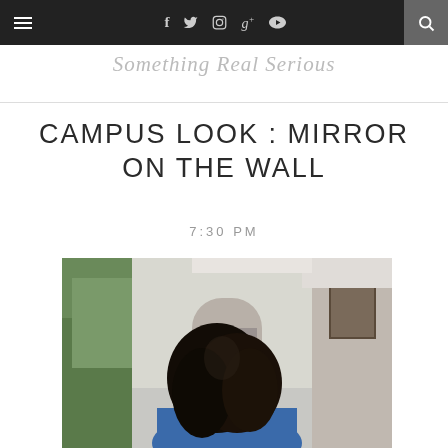Navigation bar with hamburger menu, social icons (f, Twitter, Instagram, G+, YouTube), and search
Something Real Serious
CAMPUS LOOK : MIRROR ON THE WALL
7:30 PM
[Figure (photo): Person viewed from behind with long dark hair, wearing a blue top, standing in an outdoor corridor or building entrance with trees visible in the background]